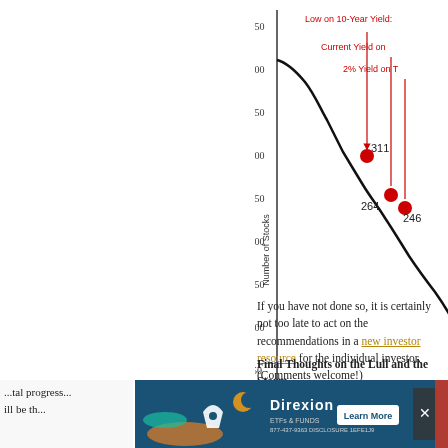[Figure (continuous-plot): Scatter/line plot showing Number of Stocks (y-axis, 0-450) vs Yield on 10-Year Treasury (x-axis, 0-2+). A descending curve is shown. Three annotated red dots: 311 labeled 'Low on 10-Year Yield', 264 labeled 'Current Yield on...', and 246 labeled '2% Yield on...'. X-axis shows values 0, 1, 2.]
If you have not done so, it is certainly not too late to act on the recommendations in a new investor resource for the individual investor. (Comments welcome!)
Final Thoughts on the Lull and the Storm...
Here are a few fearless forecasts.
The Fed will act, but not another round of qu... actual lending by member banks and/or quit increasing the money supply, so that might b...
[Figure (infographic): Advertisement banner for Direxion with blue background, rocket/moon imagery, Direxion logo, Learn More button, and close X button.]